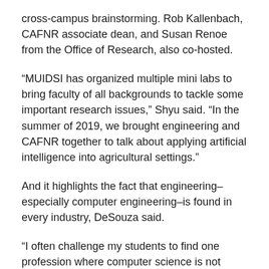cross-campus brainstorming. Rob Kallenbach, CAFNR associate dean, and Susan Renoe from the Office of Research, also co-hosted.
“MUIDSI has organized multiple mini labs to bring faculty of all backgrounds to tackle some important research issues,” Shyu said. “In the summer of 2019, we brought engineering and CAFNR together to talk about applying artificial intelligence into agricultural settings.”
And it highlights the fact that engineering–especially computer engineering–is found in every industry, DeSouza said.
“I often challenge my students to find one profession where computer science is not important,” he said. “Who would have thought cows had anything to do with engineering?”
That’s why Shyu is committed to bringing multiple